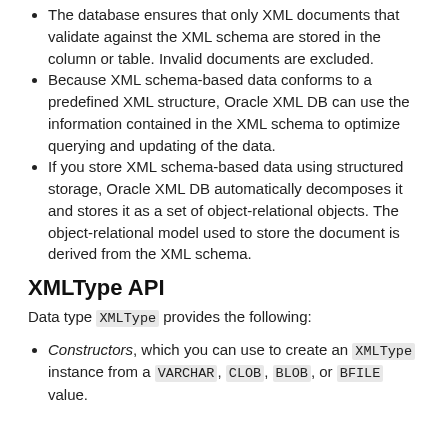The database ensures that only XML documents that validate against the XML schema are stored in the column or table. Invalid documents are excluded.
Because XML schema-based data conforms to a predefined XML structure, Oracle XML DB can use the information contained in the XML schema to optimize querying and updating of the data.
If you store XML schema-based data using structured storage, Oracle XML DB automatically decomposes it and stores it as a set of object-relational objects. The object-relational model used to store the document is derived from the XML schema.
XMLType API
Data type XMLType provides the following:
Constructors, which you can use to create an XMLType instance from a VARCHAR, CLOB, BLOB, or BFILE value.